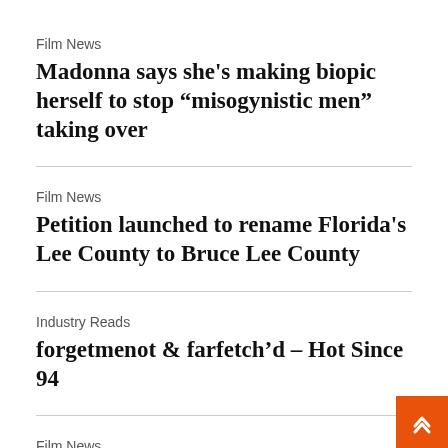Film News
Madonna says she's making biopic herself to stop “misogynistic men” taking over
Film News
Petition launched to rename Florida's Lee County to Bruce Lee County
Industry Reads
forgetmenot & farfetch’d – Hot Since 94
Film News
Sega is turning 'Space Channel 5' and 'Comix Zone' into movies